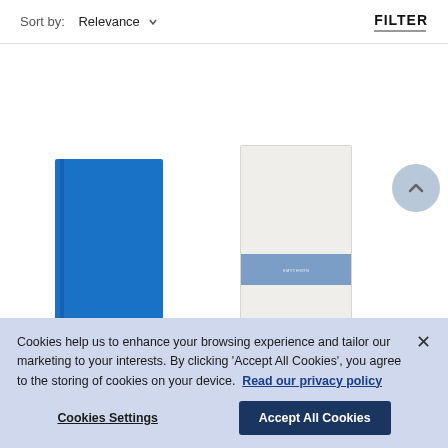Sort by: Relevance
FILTER
[Figure (photo): Two notebooks side by side: a bright blue leather notebook on the left, and a white/cream notebook with a blue band on the right. A circular scroll-to-top button is visible on the far right.]
Cookies help us to enhance your browsing experience and tailor our marketing to your interests. By clicking 'Accept All Cookies', you agree to the storing of cookies on your device. Read our privacy policy
Cookies Settings
Accept All Cookies